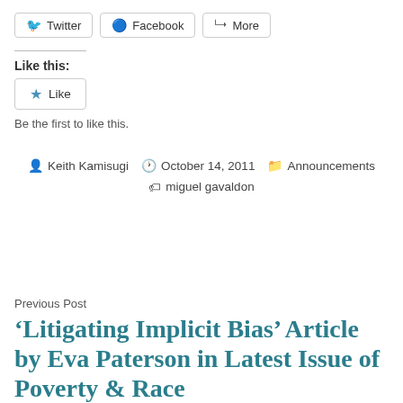[Figure (other): Social share buttons: Twitter, Facebook, More]
Like this:
[Figure (other): Like button with star icon]
Be the first to like this.
By Keith Kamisugi   October 14, 2011   Announcements   miguel gavaldon
Previous Post
‘Litigating Implicit Bias’ Article by Eva Paterson in Latest Issue of Poverty & Race